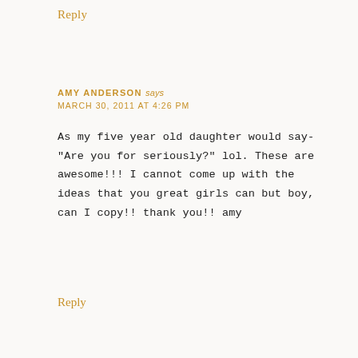Reply
AMY ANDERSON says
MARCH 30, 2011 AT 4:26 PM
As my five year old daughter would say- "Are you for seriously?" lol. These are awesome!!! I cannot come up with the ideas that you great girls can but boy, can I copy!! thank you!! amy
Reply